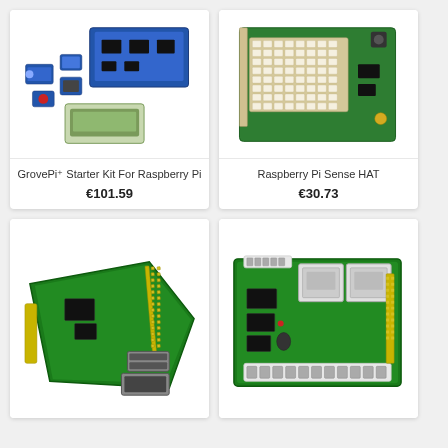[Figure (photo): GrovePi+ Starter Kit components including sensors, LCD screen, and modules on white background]
GrovePi+ Starter Kit For Raspberry Pi
€101.59
[Figure (photo): Raspberry Pi Sense HAT board with LED matrix and sensors on white background]
Raspberry Pi Sense HAT
€30.73
[Figure (photo): Green Raspberry Pi expansion board with GPIO header pins and USB ports]
[Figure (photo): Green relay expansion board with two relay modules and screw terminals for Raspberry Pi]